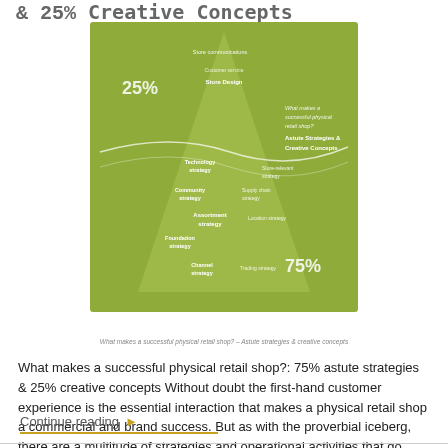& 25% Creative Concepts
[Figure (infographic): Green iceberg-shaped diagram showing 25% at top (creative concepts/brand communications) and 75% at bottom (astute strategies including technology, community, assortment, foundation, channel strategies and store-related strategies). Title reads 'What makes a successful physical retail shop? Astute Strategies & Creative Concepts']
What makes a successful physical retail shop? – Astute strategies & creative concepts
What makes a successful physical retail shop?: 75% astute strategies & 25% creative concepts Without doubt the first-hand customer experience is the essential interaction that makes a physical retail shop a commercial and brand success. But as with the proverbial iceberg, there are a multitude of strategies and operational activities that go towards delivering that first-hand experience, and into making any shop, a success. And now that physical shops exist-
Continue reading ▶